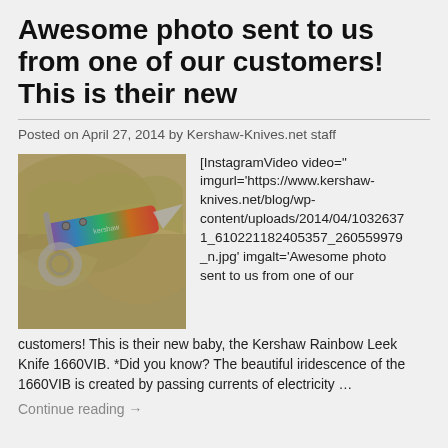Awesome photo sent to us from one of our customers! This is their new
Posted on April 27, 2014 by Kershaw-Knives.net staff
[Figure (photo): Photo of a Kershaw Rainbow Leek Knife 1660VIB on a map background, showing an iridescent multicolored folding knife with a metal clip.]
[InstagramVideo video=" imgurl='https://www.kershaw-knives.net/blog/wp-content/uploads/2014/04/10326371_610221182405357_260559979_n.jpg' imgalt='Awesome photo sent to us from one of our customers! This is their new baby, the Kershaw Rainbow Leek Knife 1660VIB. *Did you know? The beautiful iridescence of the 1660VIB is created by passing currents of electricity …
Continue reading →